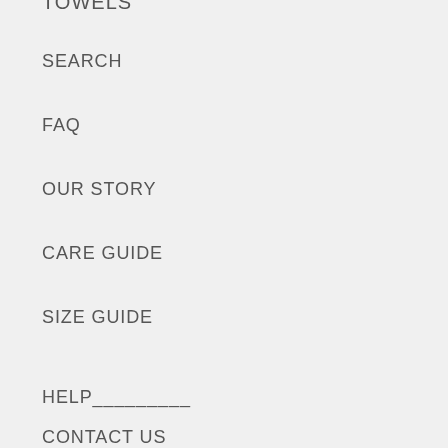TOWELS
SEARCH
FAQ
OUR STORY
CARE GUIDE
SIZE GUIDE
HELP_________
CONTACT US